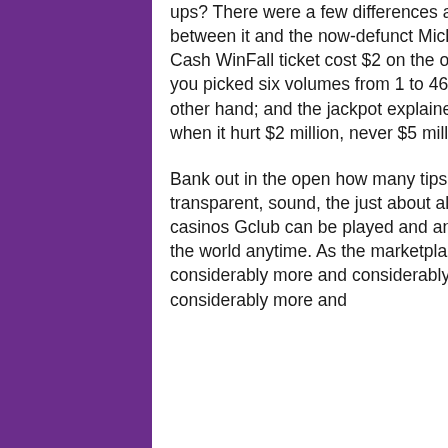ups? There were a few differences anywhere between it and the now-defunct Michigan match: a Cash WinFall ticket cost $2 on the other hand of $1; you picked six volumes from 1 to 46 of 1 to 49 on the other hand; and the jackpot explained downward when it hurt $2 million, never $5 million.
Bank out in the open how many tips Planning Gclub transparent, sound, the just about all stable in online casinos Gclub can be played and anywhere around the world anytime. As the marketplace exposed up considerably more and considerably more as considerably more and